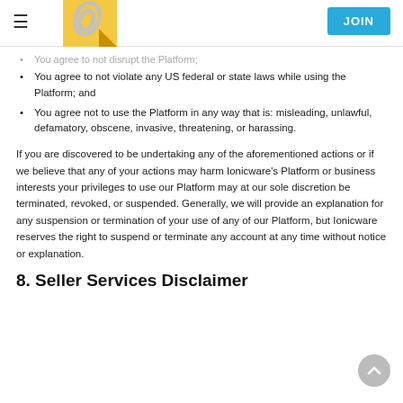≡  [logo]  JOIN
You agree to not violate any US federal or state laws while using the Platform; and
You agree not to use the Platform in any way that is: misleading, unlawful, defamatory, obscene, invasive, threatening, or harassing.
If you are discovered to be undertaking any of the aforementioned actions or if we believe that any of your actions may harm Ionicware's Platform or business interests your privileges to use our Platform may at our sole discretion be terminated, revoked, or suspended. Generally, we will provide an explanation for any suspension or termination of your use of any of our Platform, but Ionicware reserves the right to suspend or terminate any account at any time without notice or explanation.
8. Seller Services Disclaimer